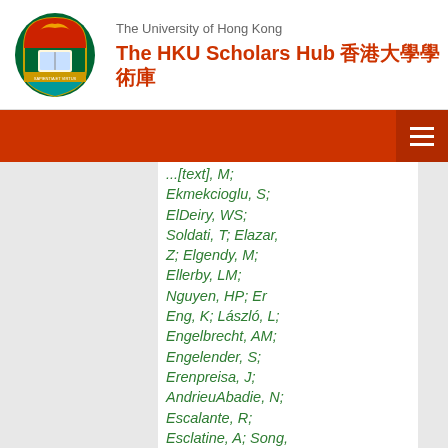The University of Hong Kong — The HKU Scholars Hub 香港大學學術庫
Ekmekcioglu, S; ElDeiry, WS; Soldati, T; Elazar, Z; Elgendy, M; Ellerby, LM; Nguyen, HP; Er Eng, K; László, L; Engelbrecht, AM; Engelender, S; Erenpreisa, J; AndrieuAbadie, N; Escalante, R; Esclatine, A; Song, X; Eskelinen, EL; Espert, L; Nie, D; Lavandero, S; Espina, V; Fan, H;